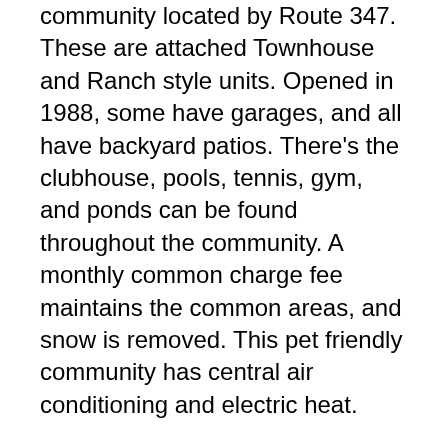community located by Route 347. These are attached Townhouse and Ranch style units. Opened in 1988, some have garages, and all have backyard patios. There's the clubhouse, pools, tennis, gym, and ponds can be found throughout the community. A monthly common charge fee maintains the common areas, and snow is removed. This pet friendly community has central air conditioning and electric heat.
Windcrest at Smithtown is a code-gated homeowner's association (PUD) community located in Suffolk County Long Island. It can be reached by Route 347 East to Terry Road. Opened in 2002, there's a clubhouse, pool, tennis, gym, gazebo & social gatherings. With a monthly common charge fee, the keeps and the facilities are maintained.